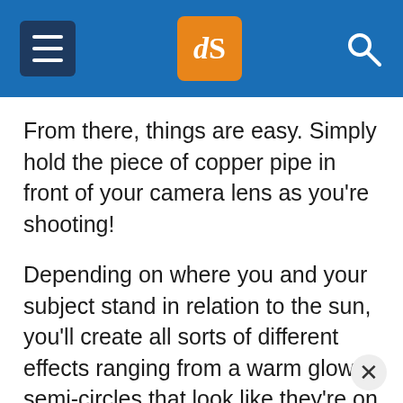dPS navigation header
From there, things are easy. Simply hold the piece of copper pipe in front of your camera lens as you're shooting!
Depending on where you and your subject stand in relation to the sun, you'll create all sorts of different effects ranging from a warm glow to semi-circles that look like they're on fire. When